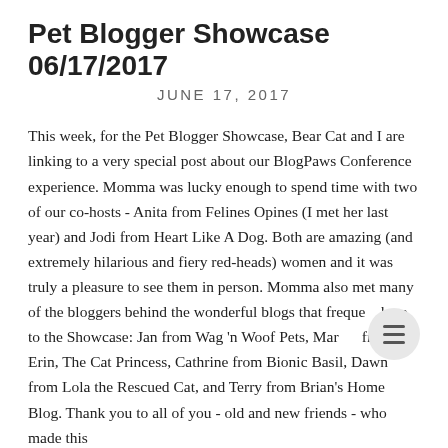Pet Blogger Showcase 06/17/2017
JUNE 17, 2017
This week, for the Pet Blogger Showcase, Bear Cat and I are linking to a very special post about our BlogPaws Conference experience. Momma was lucky enough to spend time with two of our co-hosts - Anita from Felines Opines (I met her last year) and Jodi from Heart Like A Dog. Both are amazing (and extremely hilarious and fiery red-heads) women and it was truly a pleasure to see them in person. Momma also met many of the bloggers behind the wonderful blogs that frequently link up to the Showcase: Jan from Wag 'n Woof Pets, Mark from Erin, The Cat Princess, Cathrine from Bionic Basil, Dawn from Lola the Rescued Cat, and Terry from Brian's Home Blog. Thank you to all of you - old and new friends - who made this